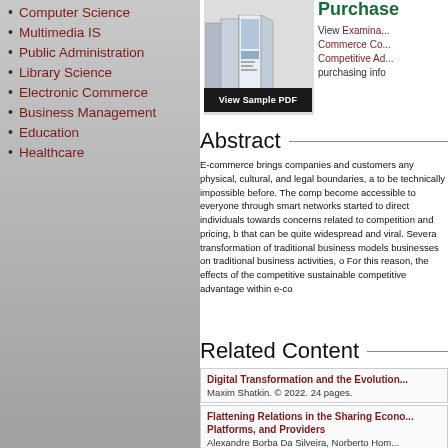Computer Science
Multimedia IS
Public Administration
Library Science
Electronic Commerce
Business Management
Education
Healthcare
[Figure (other): Book cover image stack]
[Figure (other): View Sample PDF button]
Purchase
View Examination Copy Commerce Competitive Advantage purchasing info
Abstract
E-commerce brings companies and customers any physical, cultural, and legal boundaries, a to be technically impossible before. The comp become accessible to everyone through smart networks started to direct individuals towards concerns related to competition and pricing, b that can be quite widespread and viral. Several transformation of traditional business models businesses on traditional business activities, o For this reason, the effects of the competitive sustainable competitive advantage within e-co
Related Content
Digital Transformation and the Evolution
Maxim Shatkin. © 2022. 24 pages.
Flattening Relations in the Sharing Economy Platforms, and Providers
Alexandre Borba Da Silveira, Norberto Hom